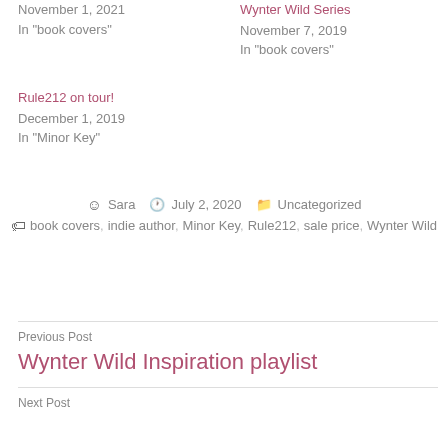November 1, 2021
In "book covers"
Wynter Wild Series
November 7, 2019
In "book covers"
Rule212 on tour!
December 1, 2019
In "Minor Key"
By Sara  •  July 2, 2020  •  Uncategorized
Tags: book covers, indie author, Minor Key, Rule212, sale price, Wynter Wild
Previous Post
Wynter Wild Inspiration playlist
Next Post